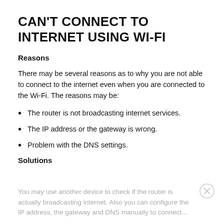CAN'T CONNECT TO INTERNET USING WI-FI
Reasons
There may be several reasons as to why you are not able to connect to the internet even when you are connected to the Wi-Fi. The reasons may be:
The router is not broadcasting internet services.
The IP address or the gateway is wrong.
Problem with the DNS settings.
Solutions
You may use another device to check if the router is actually broadcasting internet. Also you can configure the IP address, the gateway and DNS manually to connect...